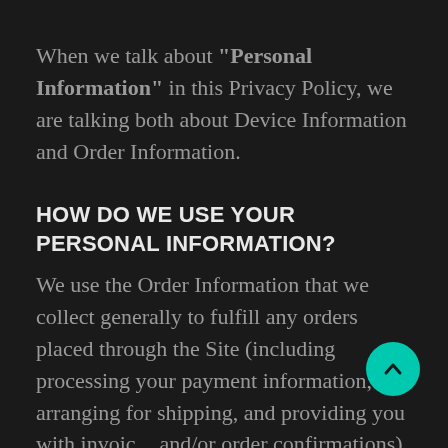When we talk about "Personal Information" in this Privacy Policy, we are talking both about Device Information and Order Information.
HOW DO WE USE YOUR PERSONAL INFORMATION?
We use the Order Information that we collect generally to fulfill any orders placed through the Site (including processing your payment information, arranging for shipping, and providing you with invoices and/or order confirmations). Additionally, we use this Order Information to: